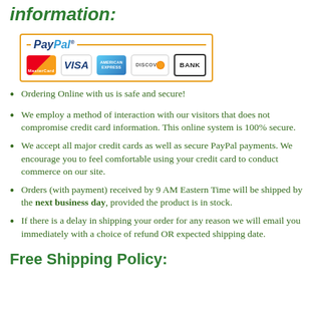information:
[Figure (logo): PayPal logo with payment card icons: MasterCard, VISA, American Express, Discover, BANK]
Ordering Online with us is safe and secure!
We employ a method of interaction with our visitors that does not compromise credit card information. This online system is 100% secure.
We accept all major credit cards as well as secure PayPal payments. We encourage you to feel comfortable using your credit card to conduct commerce on our site.
Orders (with payment) received by 9 AM Eastern Time will be shipped by the next business day, provided the product is in stock.
If there is a delay in shipping your order for any reason we will email you immediately with a choice of refund OR expected shipping date.
Free Shipping Policy: